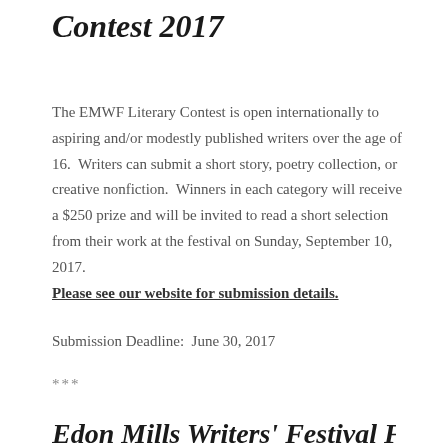Contest 2017
The EMWF Literary Contest is open internationally to aspiring and/or modestly published writers over the age of 16.  Writers can submit a short story, poetry collection, or creative nonfiction.  Winners in each category will receive a $250 prize and will be invited to read a short selection from their work at the festival on Sunday, September 10, 2017.
Please see our website for submission details.
Submission Deadline:  June 30, 2017
***
Edon Mills Writers' Festival Fringe